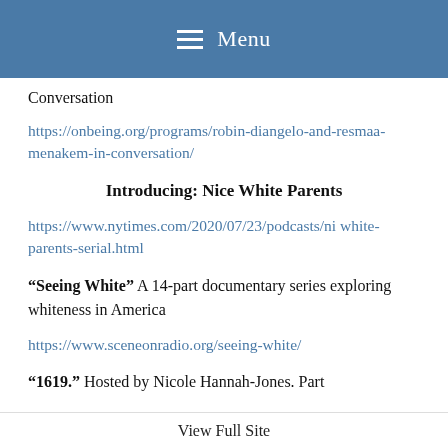Menu
Conversation
https://onbeing.org/programs/robin-diangelo-and-resmaa-menakem-in-conversation/
Introducing: Nice White Parents
https://www.nytimes.com/2020/07/23/podcasts/ni white-parents-serial.html
“Seeing White” A 14-part documentary series exploring whiteness in America
https://www.sceneonradio.org/seeing-white/
“1619.” Hosted by Nicole Hannah-Jones. Part
View Full Site